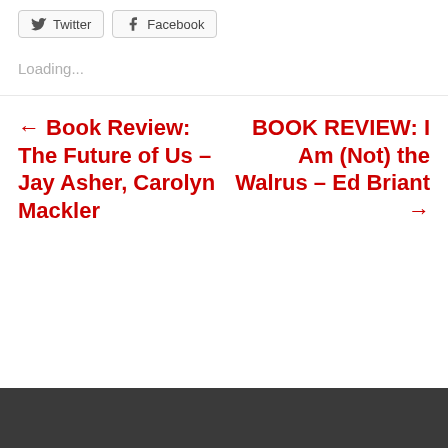Twitter
Facebook
Loading...
← Book Review: The Future of Us – Jay Asher, Carolyn Mackler
BOOK REVIEW: I Am (Not) the Walrus – Ed Briant →
[Figure (other): Dark footer bar at bottom of page]